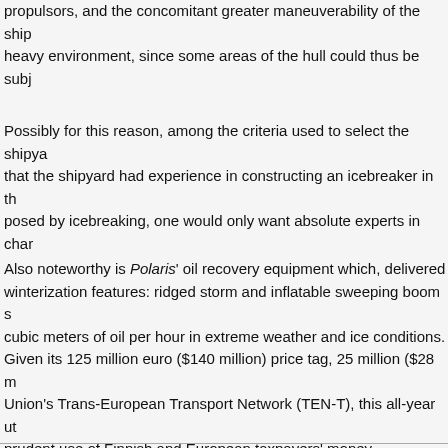propulsors, and the concomitant greater maneuverability of the ship heavy environment, since some areas of the hull could thus be subj
Possibly for this reason, among the criteria used to select the shipya that the shipyard had experience in constructing an icebreaker in th posed by icebreaking, one would only want absolute experts in char
Also noteworthy is Polaris' oil recovery equipment which, delivered winterization features: ridged storm and inflatable sweeping boom s cubic meters of oil per hour in extreme weather and ice conditions. Given its 125 million euro ($140 million) price tag, 25 million ($28 m Union's Trans-European Transport Network (TEN-T), this all-year ut prudent use of Finnish and European taxpayers' money.